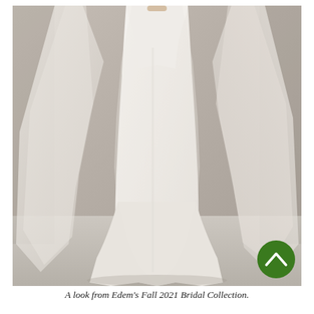[Figure (photo): A fashion photograph of a model wearing a sleek white strapless bridal gown with a long flowing tulle cape draped over her shoulders, trailing to the floor. The background is a neutral grey textured wall. The image is cropped to show the torso and full-length of the gown. A green circular scroll-up arrow button is overlaid in the lower right corner of the image.]
A look from Edem's Fall 2021 Bridal Collection.